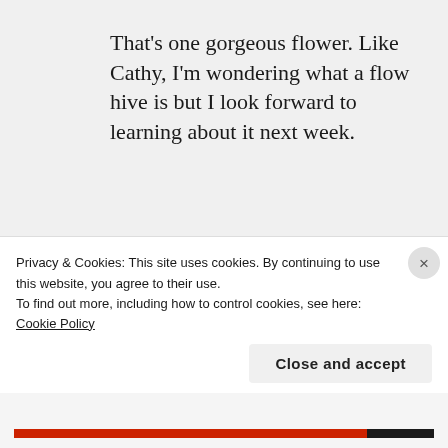That's one gorgeous flower. Like Cathy, I'm wondering what a flow hive is but I look forward to learning about it next week.
FEBRUARY 8, 2016 AT 5:35 PM
REPLY
[Figure (photo): Circular avatar photo showing a person, partially visible, with red/brown tones]
Privacy & Cookies: This site uses cookies. By continuing to use this website, you agree to their use.
To find out more, including how to control cookies, see here: Cookie Policy
Close and accept